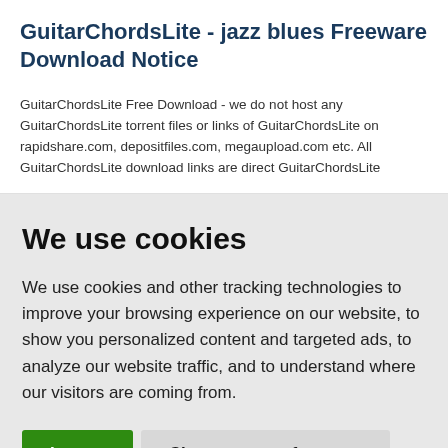GuitarChordsLite - jazz blues Freeware Download Notice
GuitarChordsLite Free Download - we do not host any GuitarChordsLite torrent files or links of GuitarChordsLite on rapidshare.com, depositfiles.com, megaupload.com etc. All GuitarChordsLite download links are direct GuitarChordsLite
We use cookies
We use cookies and other tracking technologies to improve your browsing experience on our website, to show you personalized content and targeted ads, to analyze our website traffic, and to understand where our visitors are coming from.
I agree   Change my preferences